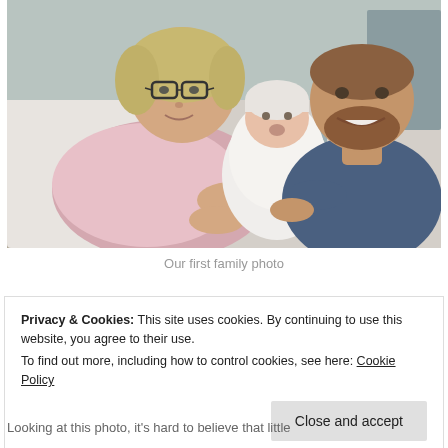[Figure (photo): A woman wearing glasses lying in a hospital bed holding a newborn baby wrapped in white, with a bearded man in a blue shirt leaning in beside her, smiling. The photo shows a family portrait taken shortly after childbirth.]
Our first family photo
Privacy & Cookies: This site uses cookies. By continuing to use this website, you agree to their use. To find out more, including how to control cookies, see here: Cookie Policy
Looking at this photo, it's hard to believe that little